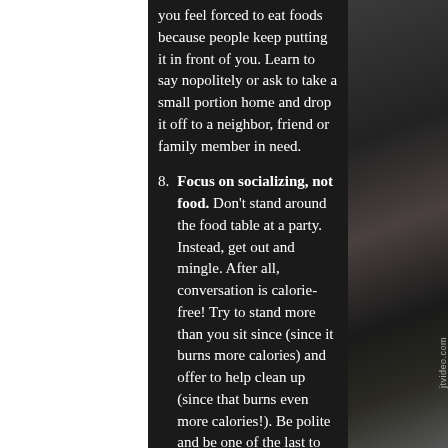you feel forced to eat foods because people keep putting it in front of you. Learn to say no politely or ask to take a small portion home and drop it off to a neighbor, friend or family member in need.
8. Focus on socializing, not food. Don't stand around the food table at a party. Instead, get out and mingle. After all, conversation is calorie-free! Try to stand more than you sit since (since it burns more calories) and offer to help clean up (since that burns even more calories!). Be polite and be one of the last to eat, the food looks much less appealing after everyone has
[Figure (photo): Dark blurred background photo on the right side of the page, appears to show people or objects in a dimly lit environment. A vertical watermark reading 'jtvideo.com' is visible.]